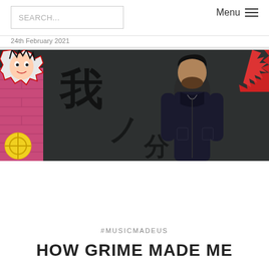SEARCH... | Menu ≡
24th February 2021
[Figure (photo): A man with a beard wearing a dark hoodie/jacket, standing in front of a graffiti wall with anime-style characters and large Japanese/Chinese calligraphy characters. Pink, yellow, and red comic-style sticker art is visible on the left side.]
#MUSICMADEUS
HOW GRIME MADE ME